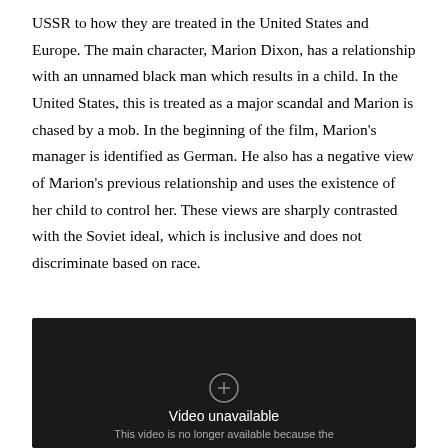USSR to how they are treated in the United States and Europe. The main character, Marion Dixon, has a relationship with an unnamed black man which results in a child. In the United States, this is treated as a major scandal and Marion is chased by a mob. In the beginning of the film, Marion's manager is identified as German. He also has a negative view of Marion's previous relationship and uses the existence of her child to control her. These views are sharply contrasted with the Soviet ideal, which is inclusive and does not discriminate based on race.
[Figure (screenshot): Dark video player showing 'Video unavailable' message with text 'This video is no longer available because the']